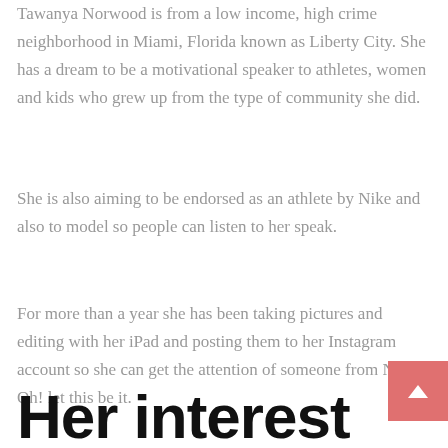Tawanya Norwood is from a low income, high crime neighborhood in Miami, Florida known as Liberty City. She has a dream to be a motivational speaker to athletes, women and kids who grew up from the type of community she did.
She is also aiming to be endorsed as an athlete by Nike and also to model so people can listen to her speak.
For more than a year she has been taking pictures and editing with her iPad and posting them to her Instagram account so she can get the attention of someone from Nike. Oh! let this be it.
Her interest